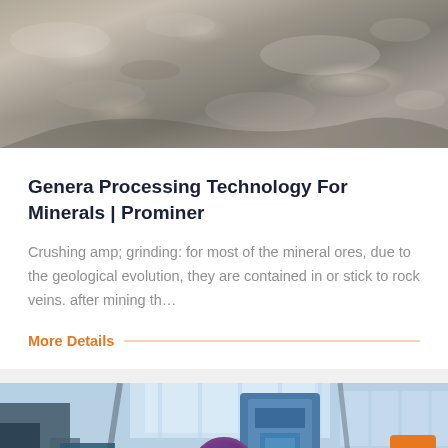[Figure (photo): Aerial or close-up photo of crushed mineral rock/ore material, grey and beige tones, rocky texture]
Genera Processing Technology For Minerals | Prominer
Crushing amp; grinding: for most of the mineral ores, due to the geological evolution, they are contained in or stick to rock veins. after mining th…
More Details
[Figure (photo): Industrial processing plant interior with blue machinery/crusher equipment, large factory hall with skylights]
Leave Message
Chat Online